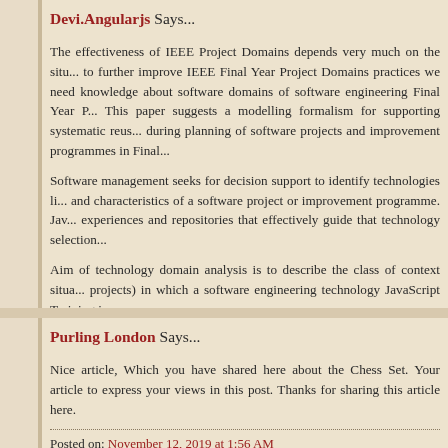Devi.Angularjs Says...
The effectiveness of IEEE Project Domains depends very much on the situation to further improve IEEE Final Year Project Domains practices we need knowledge about software domains of software engineering Final Year P... This paper suggests a modelling formalism for supporting systematic reuse during planning of software projects and improvement programmes in Final...
Software management seeks for decision support to identify technologies like and characteristics of a software project or improvement programme. Java experiences and repositories that effectively guide that technology selection...
Aim of technology domain analysis is to describe the class of context situations projects) in which a software engineering technology JavaScript Training in...
Posted on: October 19, 2019 at 9:53 PM
Purling London Says...
Nice article, Which you have shared here about the Chess Set. Your article to express your views in this post. Thanks for sharing this article here.
Posted on: November 12, 2019 at 1:56 AM